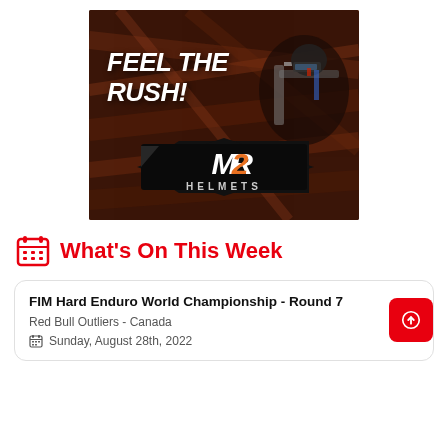[Figure (photo): M2R Helmets advertisement with motocross action photo and text FEEL THE RUSH! with M2R HELMETS logo on dark blurred background]
What's On This Week
FIM Hard Enduro World Championship - Round 7
Red Bull Outliers - Canada
Sunday, August 28th, 2022